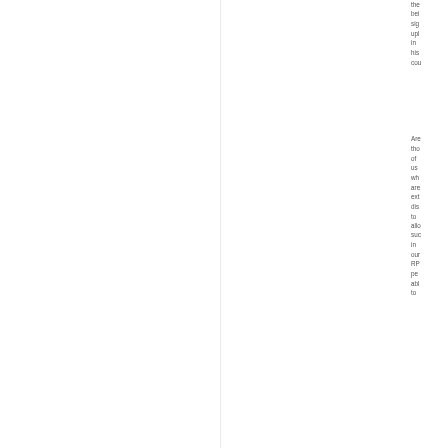the being sig upl in his cou
Are tho of us wh are ext dis to allo suc in our RP pe abl to